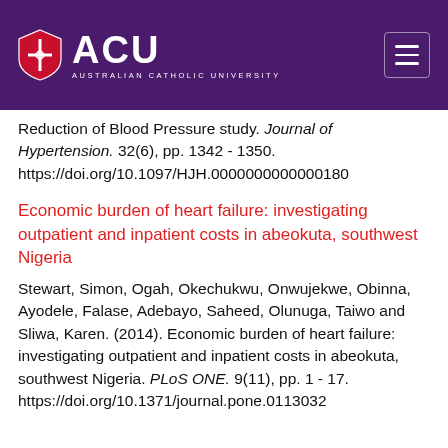[Figure (logo): ACU (Australian Catholic University) logo with purple background header, shield icon, ACU text, and hamburger menu icon]
Reduction of Blood Pressure study. Journal of Hypertension. 32(6), pp. 1342 - 1350. https://doi.org/10.1097/HJH.0000000000000180
Economic burden of heart failure: investigating outpatient and inpatient costs in abeokuta, southwest Nigeria
Stewart, Simon, Ogah, Okechukwu, Onwujekwe, Obinna, Ayodele, Falase, Adebayo, Saheed, Olunuga, Taiwo and Sliwa, Karen. (2014). Economic burden of heart failure: investigating outpatient and inpatient costs in abeokuta, southwest Nigeria. PLoS ONE. 9(11), pp. 1 - 17. https://doi.org/10.1371/journal.pone.0113032